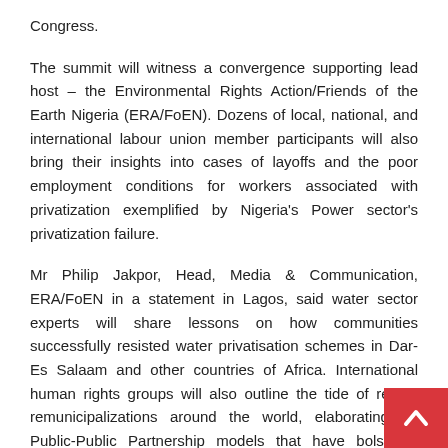Congress.
The summit will witness a convergence supporting lead host – the Environmental Rights Action/Friends of the Earth Nigeria (ERA/FoEN). Dozens of local, national, and international labour union member participants will also bring their insights into cases of layoffs and the poor employment conditions for workers associated with privatization exemplified by Nigeria's Power sector's privatization failure.
Mr Philip Jakpor, Head, Media & Communication, ERA/FoEN in a statement in Lagos, said water sector experts will share lessons on how communities successfully resisted water privatisation schemes in Dar-Es Salaam and other countries of Africa. International human rights groups will also outline the tide of recent remunicipalizations around the world, elaborating on Public-Public Partnership models that have bolstered successful public water systems.
Expected figures at the summit are former House of Representatives member, Uche Onyeagucha, leading human rights and anti- campaigner, Mallam Sanwal Ibrahim Musa (Rafsanjani), and